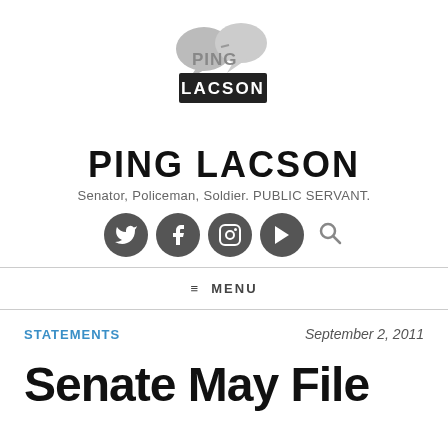[Figure (logo): Ping Lacson logo with two speech bubbles and text PING LACSON in a black box]
PING LACSON
Senator, Policeman, Soldier. PUBLIC SERVANT.
[Figure (other): Social media icons: Twitter, Facebook, Instagram, YouTube, and a search magnifier icon]
≡ MENU
STATEMENTS
September 2, 2011
Senate May File